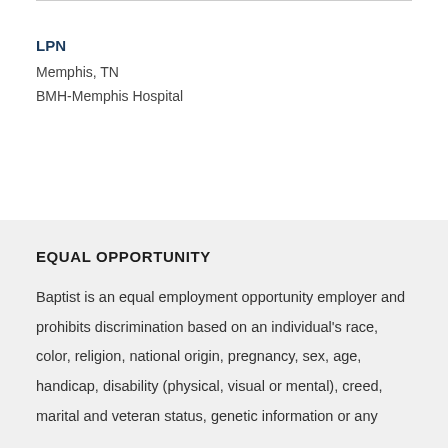LPN
Memphis, TN
BMH-Memphis Hospital
EQUAL OPPORTUNITY
Baptist is an equal employment opportunity employer and prohibits discrimination based on an individual's race, color, religion, national origin, pregnancy, sex, age, handicap, disability (physical, visual or mental), creed, marital and veteran status, genetic information or any